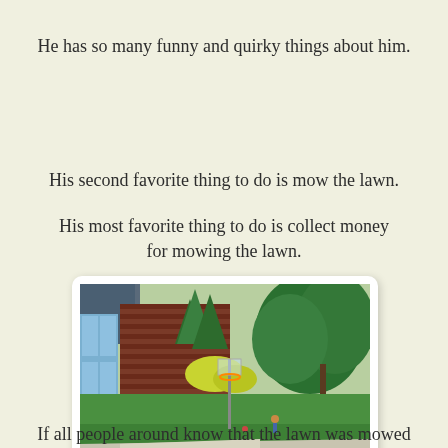He has so many funny and quirky things about him.
His second favorite thing to do is mow the lawn.
His most favorite thing to do is collect money for mowing the lawn.
[Figure (photo): Outdoor photo taken from a porch or doorway showing a green lawn, a basketball hoop, trees, a brick building, and a concrete driveway/path in bright sunlight.]
If all people around know that the lawn was mowed